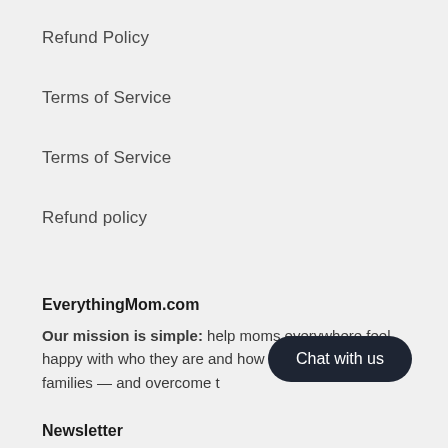Refund Policy
Terms of Service
Terms of Service
Refund policy
EverythingMom.com
Our mission is simple: help moms everywhere feel happy with who they are and how they're raising families — and overcome t
Newsletter